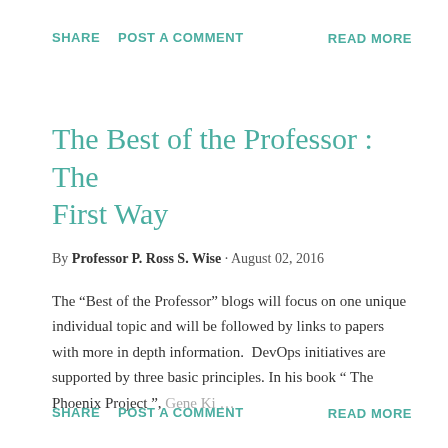SHARE   POST A COMMENT   READ MORE
The Best of the Professor : The First Way
By Professor P. Ross S. Wise · August 02, 2016
The “Best of the Professor” blogs will focus on one unique individual topic and will be followed by links to papers with more in depth information.  DevOps initiatives are supported by three basic principles. In his book “ The Phoenix Project “, Gene Ki…
SHARE   POST A COMMENT   READ MORE